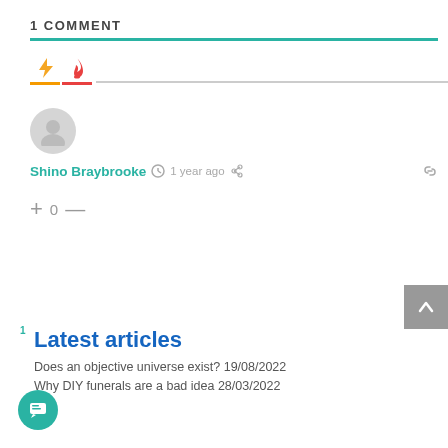1 COMMENT
[Figure (infographic): Two tab icons: a yellow lightning bolt (active, with orange underline) and an orange flame icon with red underline, followed by a gray separator line]
[Figure (photo): Gray circular avatar placeholder with silhouette person icon]
Shino Braybrooke  1 year ago  + 0 —
[Figure (screenshot): Gray scroll-to-top button with upward chevron arrow]
Latest articles
Does an objective universe exist? 19/08/2022
Why DIY funerals are a bad idea 28/03/2022
[Figure (illustration): Teal circular chat/message button at bottom left]